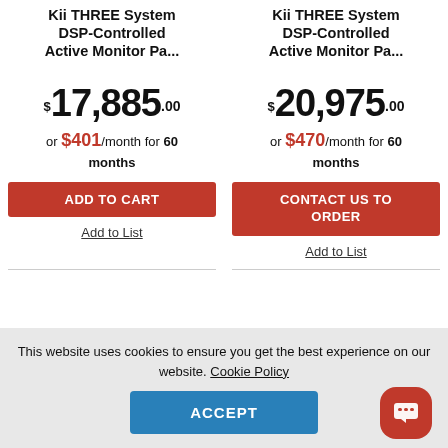Kii THREE System DSP-Controlled Active Monitor Pa...
$17,885.00
or $401/month for 60 months
ADD TO CART
Add to List
Kii THREE System DSP-Controlled Active Monitor Pa...
$20,975.00
or $470/month for 60 months
CONTACT US TO ORDER
Add to List
This website uses cookies to ensure you get the best experience on our website. Cookie Policy
ACCEPT